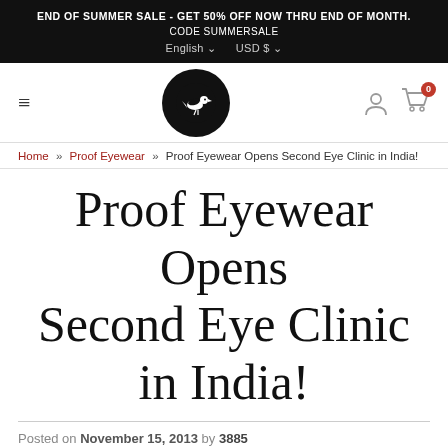END OF SUMMER SALE - GET 50% OFF NOW THRU END OF MONTH. CODE SUMMERSALE
English ∨  USD $ ∨
[Figure (logo): Black circle with white bird silhouette logo for Proof Eyewear, with hamburger menu icon on left and user/cart icons on right]
Home » Proof Eyewear » Proof Eyewear Opens Second Eye Clinic in India!
Proof Eyewear Opens Second Eye Clinic in India!
Posted on November 15, 2013 by 3885
We are proud to announce the opening of a second eye care clinic in partnership with Anuplab. Anuplab is a pioneer in the...